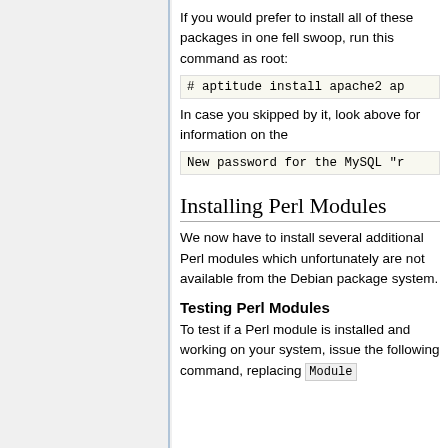If you would prefer to install all of these packages in one fell swoop, run this command as root:
# aptitude install apache2 ap
In case you skipped by it, look above for information on the
New password for the MySQL "r
Installing Perl Modules
We now have to install several additional Perl modules which unfortunately are not available from the Debian package system.
Testing Perl Modules
To test if a Perl module is installed and working on your system, issue the following command, replacing Module